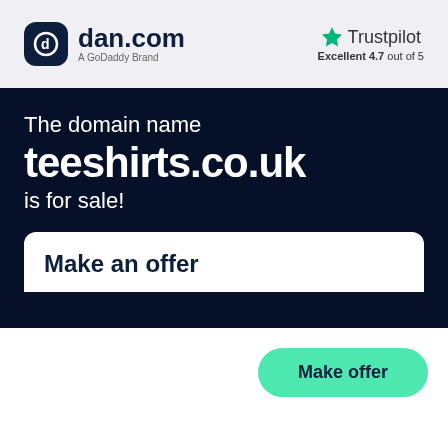[Figure (logo): dan.com logo with dark rounded square icon containing a 'd' letter, text 'dan.com' and subtitle 'A GoDaddy Brand']
[Figure (logo): Trustpilot logo with green star, text 'Trustpilot' and rating 'Excellent 4.7 out of 5']
The domain name
teeshirts.co.uk
is for sale!
Make an offer
Make offer